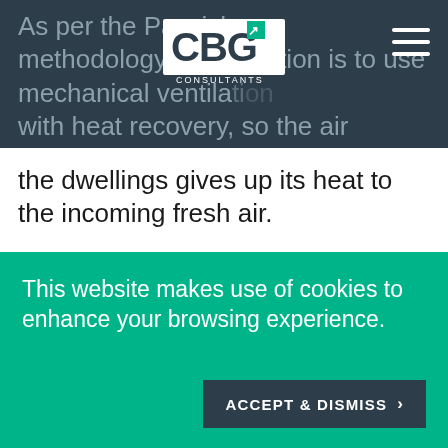As per the Passivhaus methodology, the intention is to use mechanical ventilation with heat recovery, so the air leaving
[Figure (logo): CBG Consultants logo — white lettering CBG with green square accent, CONSULTANTS text below]
the dwellings gives up its heat to the incoming fresh air.
Images – © TateHindle
[Figure (photo): Architectural rendering of modern residential buildings with stone facade, balconies, trees and blue sky. Arrow icon in teal top-right corner.]
This website makes use of cookies to enhance your browsing experience.
ACCEPT & DISMISS